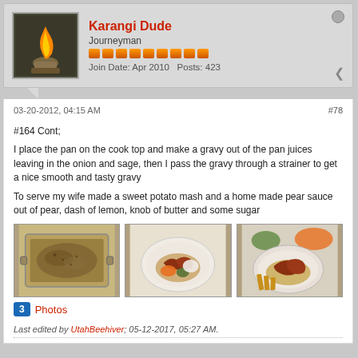Karangi Dude
Journeyman
Join Date: Apr 2010  Posts: 423
03-20-2012, 04:15 AM  #78
#164 Cont;
I place the pan on the cook top and make a gravy out of the pan juices leaving in the onion and sage, then I pass the gravy through a strainer to get a nice smooth and tasty gravy
To serve my wife made a sweet potato mash and a home made pear sauce out of pear, dash of lemon, knob of butter and some sugar
[Figure (photo): Three food photos: a roasting pan with gravy, a plated meal with meat and vegetables, and another plated dish with meat and sides]
3  Photos
Last edited by UtahBeehiver; 05-12-2017, 05:27 AM.